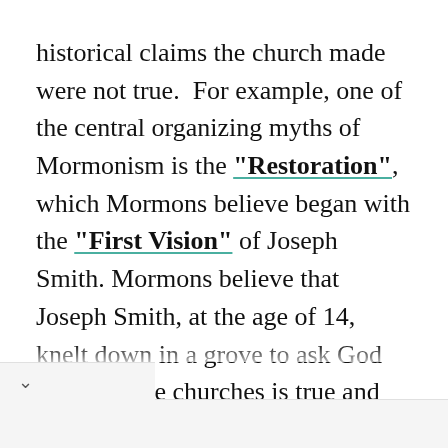historical claims the church made were not true. For example, one of the central organizing myths of Mormonism is the "Restoration", which Mormons believe began with the "First Vision" of Joseph Smith. Mormons believe that Joseph Smith, at the age of 14, knelt down in a grove to ask God which of the churches is true and God the Father and Jesus Christ appeared as two separate beings and told him that none of the existing churches were true and that he would form a new church, the one and only church. However, the official version of